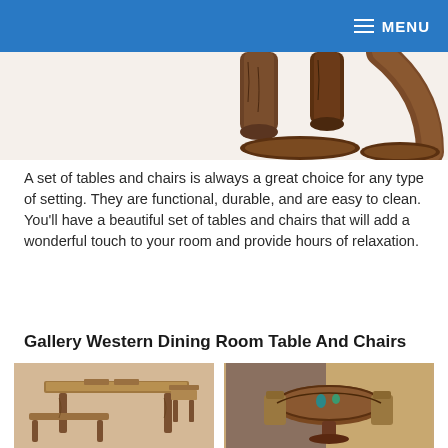MENU
[Figure (photo): Partial view of rustic log furniture legs/supports against white background]
A set of tables and chairs is always a great choice for any type of setting. They are functional, durable, and are easy to clean. You'll have a beautiful set of tables and chairs that will add a wonderful touch to your room and provide hours of relaxation.
Gallery Western Dining Room Table And Chairs
[Figure (photo): Rustic western-style dining table with bench and chairs made of log/wood]
[Figure (photo): Round ornate western dining table with chairs in a decorated room setting]